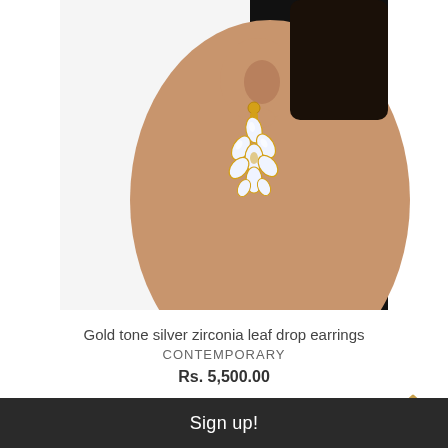[Figure (photo): A woman wearing a gold tone silver zirconia leaf drop earring. The earring features marquise-cut clear zirconia stones arranged in a leaf/floral cluster design with a gold-tone setting. The model's ear and neck are visible against a black and skin-tone background.]
Gold tone silver zirconia leaf drop earrings
CONTEMPORARY
Rs. 5,500.00
[Figure (photo): Partial view of another product image below, showing a model's dark hair against a black background.]
Sign up!